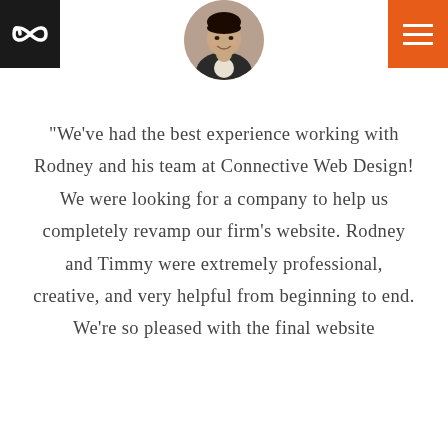[Figure (logo): Black square logo with white infinity/double-loop symbol]
[Figure (photo): Circular profile photo of a smiling Asian woman in a dark blazer]
[Figure (other): Orange square hamburger menu button with three white horizontal lines]
“We’ve had the best experience working with Rodney and his team at Connective Web Design! We were looking for a company to help us completely revamp our firm’s website. Rodney and Timmy were extremely professional, creative, and very helpful from beginning to end. We’re so pleased with the final website